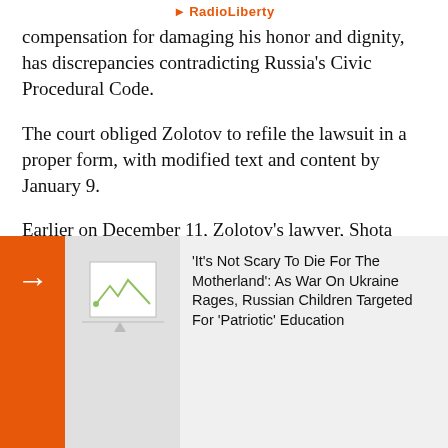RadioLiberty
compensation for damaging his honor and dignity, has discrepancies contradicting Russia's Civic Procedural Code.
The court obliged Zolotov to refile the lawsuit in a proper form, with modified text and content by January 9.
Earlier on December 11, Zolotov’s lawyer, Shota Gorgadze, said his client wanted a court to rule that Navalny's allegations about Zolotov being corrupt are not true.
Navalny then d... "very funny," ... the Federal An... request from t...
[Figure (screenshot): Related article widget with orange arrow button on left, placeholder image in center, and text link reading: 'It's Not Scary To Die For The Motherland': As War On Ukraine Rages, Russian Children Targeted For 'Patriotic' Education]